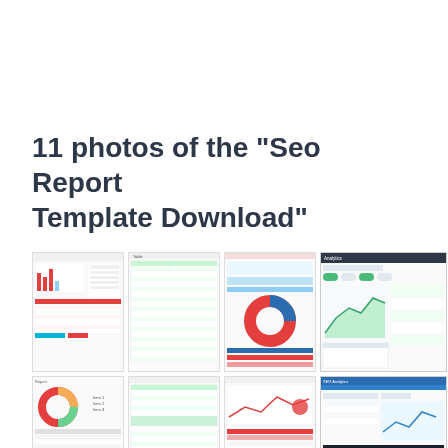11 photos of the "Seo Report Template Download"
[Figure (screenshot): SEO report dashboard thumbnail 1 with bar chart and red table]
[Figure (screenshot): SEO report table thumbnail 2 with green rows]
[Figure (screenshot): SEO report thumbnail 3 with pie chart]
[Figure (screenshot): SEO analytics dashboard thumbnail 4 with dark header and green area chart]
[Figure (screenshot): SEO report thumbnail 5 with donut chart and bar chart]
[Figure (screenshot): SEO report thumbnail 6 with green highlighted table rows]
[Figure (screenshot): SEO report thumbnail 7 with red bar and table]
[Figure (screenshot): SEO report thumbnail 8 with blue header, line chart, and colored table]
[Figure (screenshot): SEO report thumbnail 9 with dark blue header]
[Figure (screenshot): SEO report thumbnail 10 with donut chart]
[Figure (screenshot): SEO report thumbnail 11 with donut/pie chart]